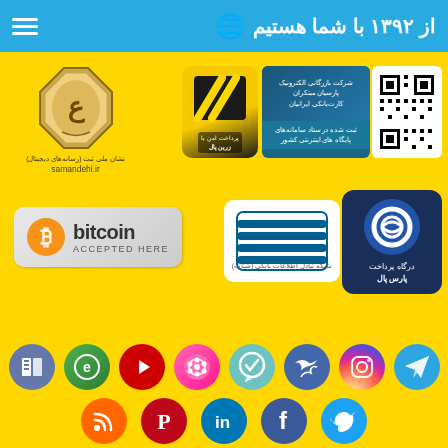از ۱۳۹۲ با شما هستیم
[Figure (logo): Samandehi national trust badge with samandehi.ir URL]
[Figure (logo): ZarinPal payment logo]
[Figure (logo): Sanad enamad registration badge for Iranian internet sites]
[Figure (logo): QR code]
[Figure (logo): Bitcoin Accepted Here badge]
[Figure (logo): Shetab banking network logo]
[Figure (logo): ParssPal payment gateway logo]
[Figure (infographic): Row of social media icons: book/library, enamad, YouTube, film, check/viber, swallow/twitter-like, Instagram, Telegram]
[Figure (infographic): Row of social media icons: RSS, Pinterest, LinkedIn, Facebook, Twitter]